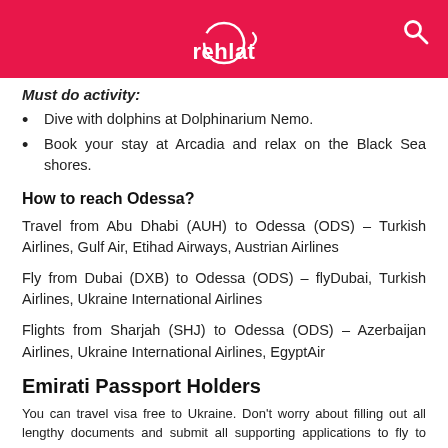rehlat
Must do activity:
Dive with dolphins at Dolphinarium Nemo.
Book your stay at Arcadia and relax on the Black Sea shores.
How to reach Odessa?
Travel from Abu Dhabi (AUH) to Odessa (ODS) – Turkish Airlines, Gulf Air, Etihad Airways, Austrian Airlines
Fly from Dubai (DXB) to Odessa (ODS) – flyDubai, Turkish Airlines, Ukraine International Airlines
Flights from Sharjah (SHJ) to Odessa (ODS) – Azerbaijan Airlines, Ukraine International Airlines, EgyptAir
Emirati Passport Holders
You can travel visa free to Ukraine. Don't worry about filling out all lengthy documents and submit all supporting applications to fly to Ukraine. Yes, Ukraine has opened its borders for